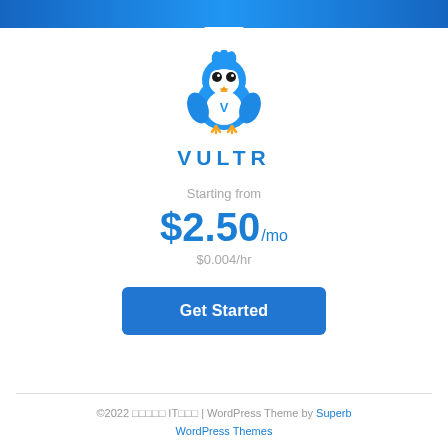[Figure (logo): Vultr blue bird mascot logo with letter V on chest, above VULTR brand name in blue bold letters]
Starting from
$2.50/mo
$0.004/hr
Get Started
©2022 □□□□□ IT□□□ | WordPress Theme by Superb WordPress Themes